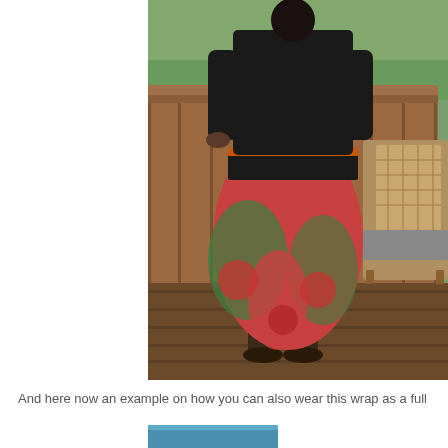[Figure (photo): A person standing on a wooden deck viewed from behind, wearing a black long-sleeve top and a colorful floral wrap skirt in red and green tones with an orange/black waistband. A wicker chair is visible to the right, and green trees are visible in the background.]
And here now an example on how you can also wear this wrap as a full
[Figure (photo): Partial view of another photo at the bottom of the page, showing a blue color at the top edge.]